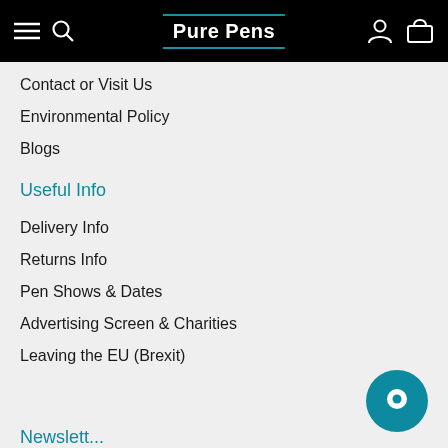Pure Pens
Contact or Visit Us
Environmental Policy
Blogs
Useful Info
Delivery Info
Returns Info
Pen Shows & Dates
Advertising Screen & Charities
Leaving the EU (Brexit)
Newsletter